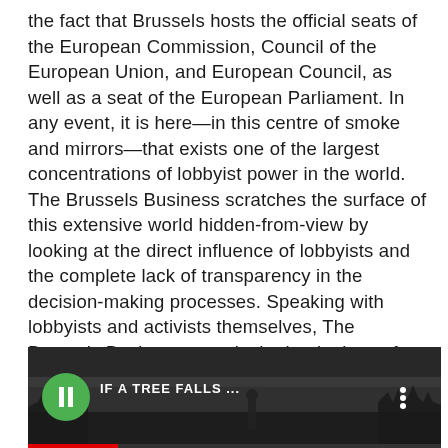the fact that Brussels hosts the official seats of the European Commission, Council of the European Union, and European Council, as well as a seat of the European Parliament. In any event, it is here—in this centre of smoke and mirrors—that exists one of the largest concentrations of lobbyist power in the world. The Brussels Business scratches the surface of this extensive world hidden-from-view by looking at the direct influence of lobbyists and the complete lack of transparency in the decision-making processes. Speaking with lobbyists and activists themselves, The Brussels Business reveals the beginnings of a vast landscape of PR conglomerates, front companies, think-tanks and their closely-interlinking networks of power and ties to political and economic elites. The questions then become: Who actually runs the European Union? How? And why?]
[Figure (screenshot): Video thumbnail showing 'IF A TREE FALLS ...' with a green play button circle, white text title, three-dot menu icon, forest/nature scene in background, and a red progress bar at the bottom.]